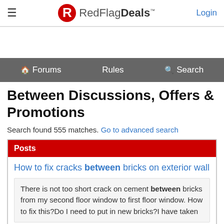≡  RedFlagDeals™  Login
🏠 Forums  Rules  🔍 Search
Between Discussions, Offers & Promotions
Search found 555 matches. Go to advanced search
Posts
How to fix cracks between bricks on exterior wall
There is not too short crack on cement between bricks from my second floor window to first floor window. How to fix this?Do I need to put in new bricks?I have taken